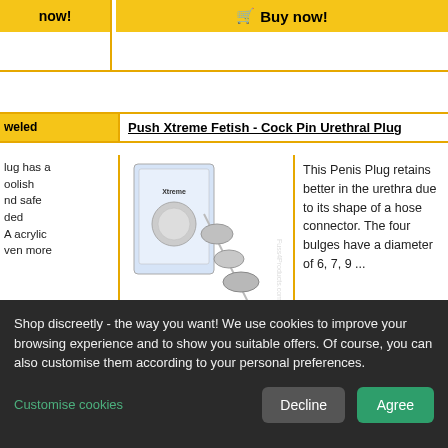now!
Buy now!
Push Xtreme Fetish - Cock Pin Urethral Plug
weled lug has aoolish nd safe ded A acrylic ven more
[Figure (photo): Product photo of a metal urethral plug with multiple bulges and packaging]
This Penis Plug retains better in the urethra due to its shape of a hose connector. The four bulges have a diameter of 6, 7, 9 ...
more info
22.90 EUR
incl. VAT. + shipping costs
info
hipping
now!
Buy now!
Shop discreetly - the way you want! We use cookies to improve your browsing experience and to show you suitable offers. Of course, you can also customise them according to your personal preferences.
Customise cookies
Decline
Agree